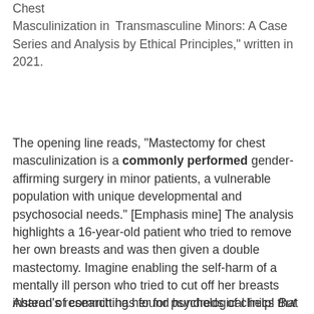Chest Masculinization in Transmasculine Minors: A Case Series and Analysis by Ethical Principles,” written in 2021.
The opening line reads, “Mastectomy for chest masculinization is a commonly performed gender-affirming surgery in minor patients, a vulnerable population with unique developmental and psychosocial needs.” [Emphasis mine] The analysis highlights a 16-year-old patient who tried to remove her own breasts and was then given a double mastectomy. Imagine enabling the self-harm of a mentally ill person who tried to cut off her breasts instead of committing her for psychological help! But that’s what’s happening! The medical establishment has gone completely bonkers.
Aharon’s research has found hundreds of clinics that